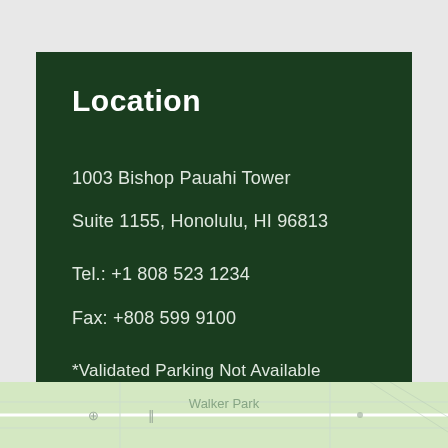Location
1003 Bishop Pauahi Tower
Suite 1155, Honolulu, HI 96813
Tel.: +1 808 523 1234
Fax: +808 599 9100
*Validated Parking Not Available
[Figure (map): Partial street map showing Walker Park area at the bottom of the page]